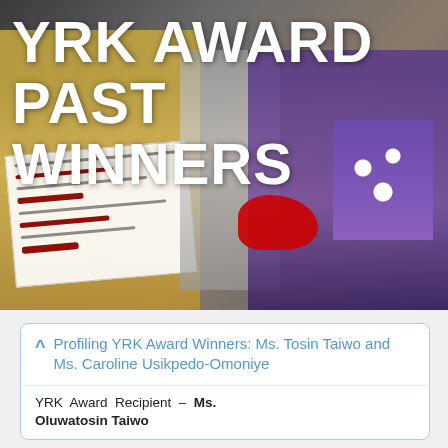[Figure (photo): Award ceremony photo showing people holding large cheques and certificates, with a decorative garment featuring a red animal motif visible in the center, and floral fabric on the right.]
YRK AWARD PAST WINNERS
Profiling YRK Award Winners: Ms. Tosin Taiwo and Ms. Caroline Usikpedo-Omoniye
YRK Award Recipient – Ms. Oluwatosin Taiwo